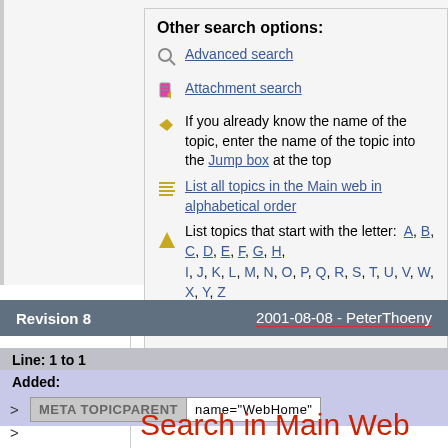Other search options:
Advanced search
Attachment search
If you already know the name of the topic, enter the name of the topic into the Jump box at the top
List all topics in the Main web in alphabetical order
List topics that start with the letter: A, B, C, D, E, F, G, H, I, J, K, L, M, N, O, P, Q, R, S, T, U, V, W, X, Y, Z
Recently changed topics
Revision 8    2001-08-08 - PeterThoeny
Line: 1 to 1
Added:
> META TOPICPARENT  name="WebHome"
Search in Main Web